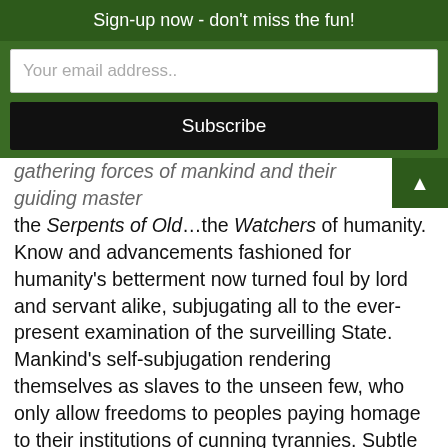Sign-up now - don't miss the fun!
Your email address..
Subscribe
gathering forces of mankind and their guiding master the Serpents of Old…the Watchers of humanity. Know and advancements fashioned for humanity's betterment now turned foul by lord and servant alike, subjugating all to the ever-present examination of the surveilling State. Mankind's self-subjugation rendering themselves as slaves to the unseen few, who only allow freedoms to peoples paying homage to their institutions of cunning tyrannies. Subtle guidance by the ancient scales now coil tightly about their corrupted human tools to deliver to them the World in arrogant defiance of the Creator-of-All. It is in this confrontation, I vision the origins of the Old Serpents…in our first civilization, seeing their Lights twisted and fouled by selfish wants and the corruptible doings of their divinities. Their ancient bane, the Horsemen, I see rise, then as now